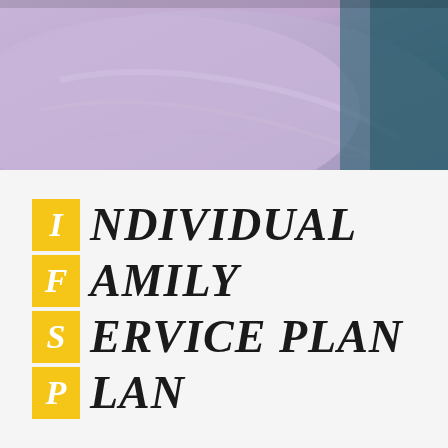[Figure (photo): Close-up photo of a person wearing a light purple/lavender shirt or garment, with a teal/dark blue background visible on the right side]
INDIVIDUAL FAMILY SERVICE PLAN